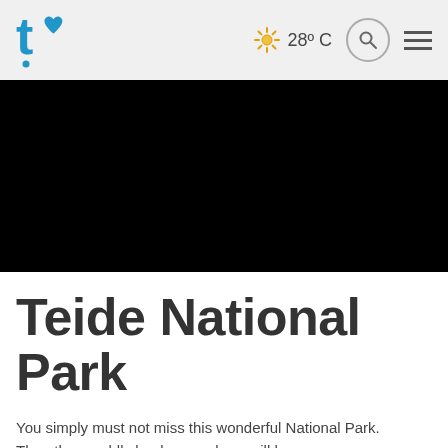t! logo | 28º C | search | menu
[Figure (photo): Black hero image area representing a photo of Teide National Park]
Teide National Park
You simply must not miss this wonderful National Park. The other worldly landscapes here will leave you